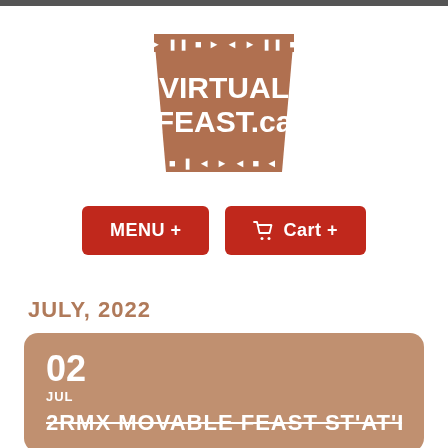[Figure (logo): VirtualFeast.ca logo — brown trapezoid shape with decorative arrow/symbol border and white text reading VIRTUAL FEAST.ca]
MENU +
Cart +
JULY, 2022
02
JUL
2RMX MOVABLE FEAST ST'AT'IMC